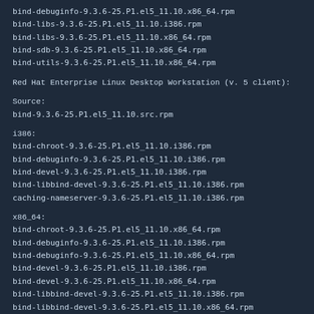bind-debuginfo-9.3.6-25.P1.el5_11.10.x86_64.rpm
bind-libs-9.3.6-25.P1.el5_11.10.i386.rpm
bind-libs-9.3.6-25.P1.el5_11.10.x86_64.rpm
bind-sdb-9.3.6-25.P1.el5_11.10.x86_64.rpm
bind-utils-9.3.6-25.P1.el5_11.10.x86_64.rpm
Red Hat Enterprise Linux Desktop Workstation (v. 5 client):
Source:
bind-9.3.6-25.P1.el5_11.10.src.rpm
i386:
bind-chroot-9.3.6-25.P1.el5_11.10.i386.rpm
bind-debuginfo-9.3.6-25.P1.el5_11.10.i386.rpm
bind-devel-9.3.6-25.P1.el5_11.10.i386.rpm
bind-libbind-devel-9.3.6-25.P1.el5_11.10.i386.rpm
caching-nameserver-9.3.6-25.P1.el5_11.10.i386.rpm
x86_64:
bind-chroot-9.3.6-25.P1.el5_11.10.x86_64.rpm
bind-debuginfo-9.3.6-25.P1.el5_11.10.i386.rpm
bind-debuginfo-9.3.6-25.P1.el5_11.10.x86_64.rpm
bind-devel-9.3.6-25.P1.el5_11.10.i386.rpm
bind-devel-9.3.6-25.P1.el5_11.10.x86_64.rpm
bind-libbind-devel-9.3.6-25.P1.el5_11.10.i386.rpm
bind-libbind-devel-9.3.6-25.P1.el5_11.10.x86_64.rpm
caching-nameserver-9.3.6-25.P1.el5_11.10.x86_64.rpm
Red Hat Enterprise Linux (v. 5 server):
Source:
bind-9.3.6-25.P1.el5_11.10.src.rpm